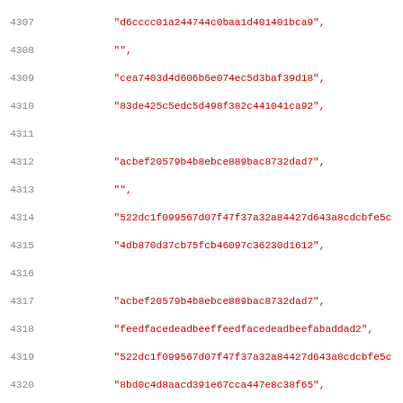Source code listing showing C array of hash strings and test function declaration, lines 4307-4339
Lines 4307-4339 of C source code with line numbers, string literals in red, keywords in blue